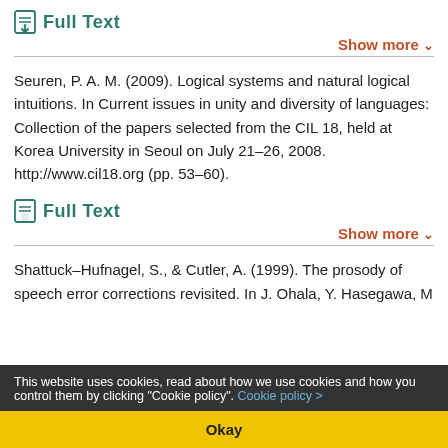Full Text
Show more
Seuren, P. A. M. (2009). Logical systems and natural logical intuitions. In Current issues in unity and diversity of languages: Collection of the papers selected from the CIL 18, held at Korea University in Seoul on July 21-26, 2008. http://www.cil18.org (pp. 53-60).
Full Text
Show more
Shattuck-Hufnagel, S., & Cutler, A. (1999). The prosody of speech error corrections revisited. In J. Ohala, Y. Hasegawa, M
This website uses cookies, read about how we use cookies and how you control them by clicking "Cookie policy". Cookie policy >
Okay